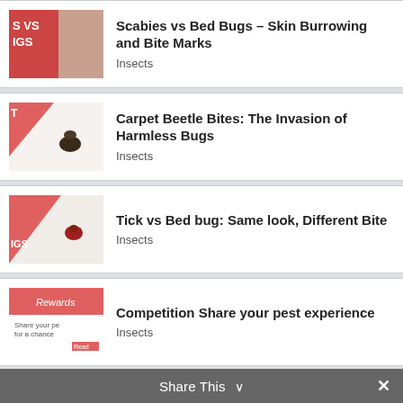Scabies vs Bed Bugs – Skin Burrowing and Bite Marks | Insects
Carpet Beetle Bites: The Invasion of Harmless Bugs | Insects
Tick vs Bed bug: Same look, Different Bite | Insects
Competition Share your pest experience | Insects
Flea repellent for humans – Fleas can also bite us too! | Insects
Share This ∨  ✕